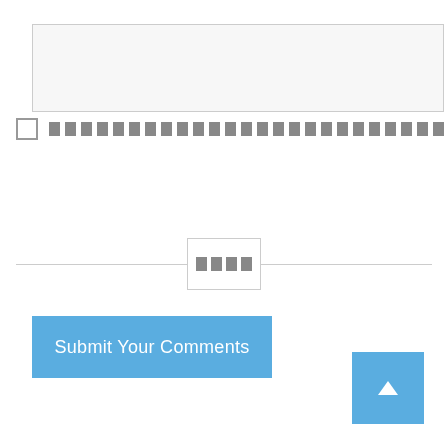[Figure (screenshot): Empty text area input box with light gray background and border]
[redacted checkbox] [redacted text label]
Submit Your Comments
[Figure (other): Horizontal divider line with centered box containing redacted text]
[Figure (other): Blue scroll-to-top button with upward arrow in bottom right corner]